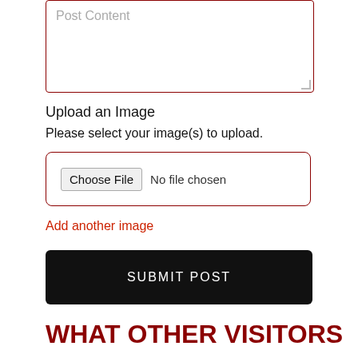[Figure (screenshot): A text area input field with placeholder text 'Post Content' and a dark red border with resize handle]
Upload an Image
Please select your image(s) to upload.
[Figure (screenshot): A file input box with a 'Choose File' button and 'No file chosen' text, surrounded by a dark red border]
Add another image
[Figure (screenshot): A black submit button with white text 'SUBMIT POST']
WHAT OTHER VISITORS